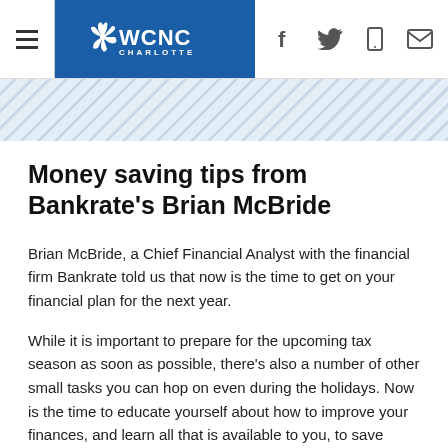WCNC Charlotte
Money saving tips from Bankrate's Brian McBride
Brian McBride, a Chief Financial Analyst with the financial firm Bankrate told us that now is the time to get on your financial plan for the next year.
While it is important to prepare for the upcoming tax season as soon as possible, there's also a number of other small tasks you can hop on even during the holidays. Now is the time to educate yourself about how to improve your finances, and learn all that is available to you, to save